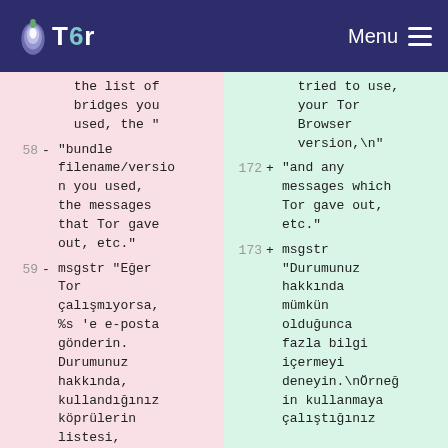Tor | Menu
Left diff column - lines 58-59: removed lines with 'the list of bridges you used, the "', '"bundle filename/version you used, the messages that Tor gave out, etc."', 'msgstr "Eğer Tor çalışmıyorsa, %s 'e e-posta gönderin. Durumunuz hakkında, kullandığınız köprülerin listesi,'
Right diff column - lines 172-173: added lines with 'tried to use, your Tor Browser version,\n"', '"and any messages which Tor gave out, etc."', 'msgstr "Durumunuz hakkında mümkün olduğunca fazla bilgi içermeyi deneyin.\nÖrneğin kullanmaya çalıştığınız'